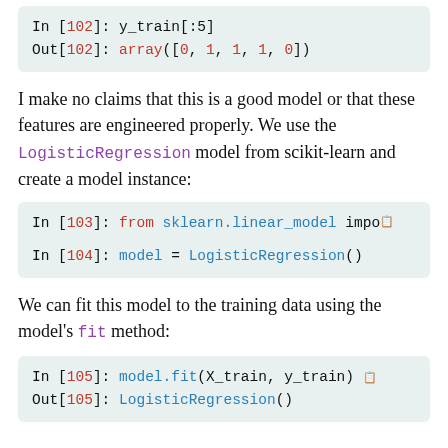[Figure (screenshot): Jupyter notebook code cell In [102]: y_train[:5] with output Out[102]: array([0, 1, 1, 1, 0])]
I make no claims that this is a good model or that these features are engineered properly. We use the LogisticRegression model from scikit-learn and create a model instance:
[Figure (screenshot): Jupyter notebook code cells In [103]: from sklearn.linear_model import ... and In [104]: model = LogisticRegression()]
We can fit this model to the training data using the model's fit method:
[Figure (screenshot): Jupyter notebook code cell In [105]: model.fit(X_train, y_train) with output Out[105]: LogisticRegression()]